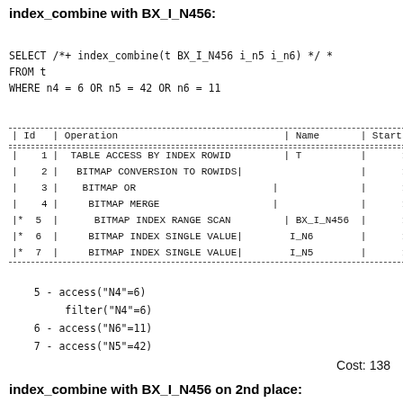index_combine with BX_I_N456:
SELECT /*+ index_combine(t BX_I_N456 i_n5 i_n6) */ *
FROM t
WHERE n4 = 6 OR n5 = 42 OR n6 = 11
| Id | Operation | Name | Starts |
| --- | --- | --- | --- |
| 1 | TABLE ACCESS BY INDEX ROWID | T | 1 |
| 2 | BITMAP CONVERSION TO ROWIDS |  | 1 |
| 3 | BITMAP OR |  | 1 |
| 4 | BITMAP MERGE |  | 1 |
| * 5 | BITMAP INDEX RANGE SCAN | BX_I_N456 | 1 |
| * 6 | BITMAP INDEX SINGLE VALUE | I_N6 | 1 |
| * 7 | BITMAP INDEX SINGLE VALUE | I_N5 | 1 |
5 - access("N4"=6)
       filter("N4"=6)
   6 - access("N6"=11)
   7 - access("N5"=42)
Cost: 138
index_combine with BX_I_N456 on 2nd place: